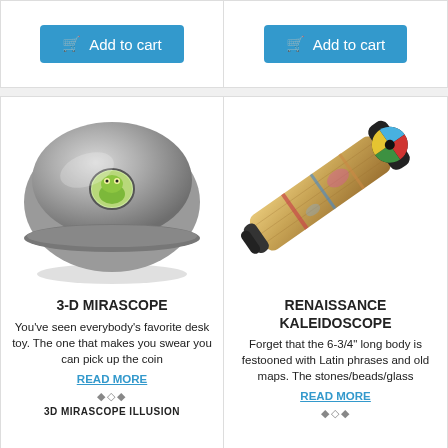[Figure (other): Add to cart button for left product (top row, left card)]
[Figure (other): Add to cart button for right product (top row, right card)]
[Figure (illustration): 3-D Mirascope product image: a dark gray dome/disc with a small frog visible in the center hole]
3-D MIRASCOPE
You've seen everybody's favorite desk toy. The one that makes you swear you can pick up the coin
READ MORE
◆◇◆
3D MIRASCOPE ILLUSION
[Figure (illustration): Renaissance Kaleidoscope product image: a cylindrical kaleidoscope decorated with old maps and Latin phrases, showing colorful geometric pattern at the viewing end]
RENAISSANCE KALEIDOSCOPE
Forget that the 6-3/4" long body is festooned with Latin phrases and old maps. The stones/beads/glass
READ MORE
◆◇◆